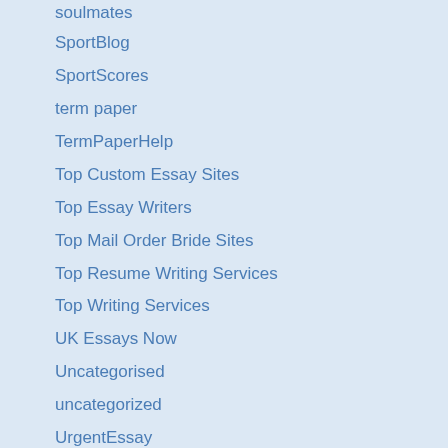soulmates
SportBlog
SportScores
term paper
TermPaperHelp
Top Custom Essay Sites
Top Essay Writers
Top Mail Order Bride Sites
Top Resume Writing Services
Top Writing Services
UK Essays Now
Uncategorised
uncategorized
UrgentEssay
UrgentEssayWriting
victoria brides
Video Chat With Women
videopoker